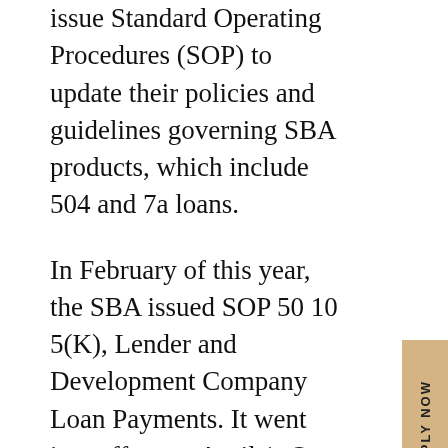issue Standard Operating Procedures (SOP) to update their policies and guidelines governing SBA products, which include 504 and 7a loans.
In February of this year, the SBA issued SOP 50 10 5(K), Lender and Development Company Loan Payments. It went into effect on April 1. One noted change was to increase the credit threshold from 10 percent to 20 percent for borrowers who qualify for other types of financing.
Another noted policy change concerns the eligibility of marijuana-related businesses.